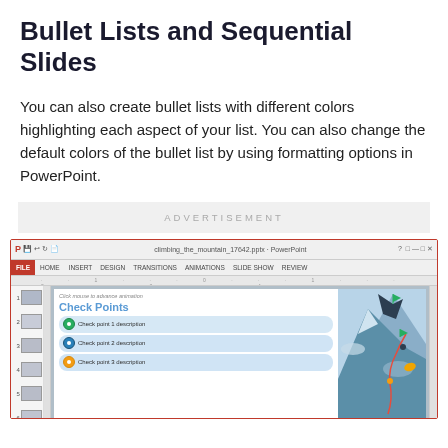Bullet Lists and Sequential Slides
You can also create bullet lists with different colors highlighting each aspect of your list. You can also change the default colors of the bullet list by using formatting options in PowerPoint.
ADVERTISEMENT
[Figure (screenshot): PowerPoint application screenshot showing a slide with 'Check Points' title and colored bullet items including Check point 1 description, Check point 2 description, and partially visible Check point 3 description. The slide panel on the left shows 6 slides numbered 1-6.]